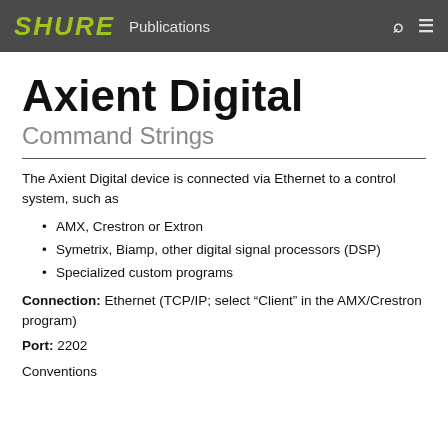SHURE Publications
Axient Digital
Command Strings
The Axient Digital device is connected via Ethernet to a control system, such as
AMX, Crestron or Extron
Symetrix, Biamp, other digital signal processors (DSP)
Specialized custom programs
Connection: Ethernet (TCP/IP; select “Client” in the AMX/Crestron program)
Port: 2202
Conventions